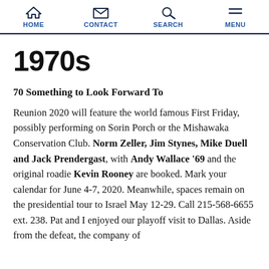HOME | CONTACT | SEARCH | MENU
1970s
70 Something to Look Forward To
Reunion 2020 will feature the world famous First Friday, possibly performing on Sorin Porch or the Mishawaka Conservation Club. Norm Zeller, Jim Stynes, Mike Duell and Jack Prendergast, with Andy Wallace '69 and the original roadie Kevin Rooney are booked. Mark your calendar for June 4-7, 2020. Meanwhile, spaces remain on the presidential tour to Israel May 12-29. Call 215-568-6655 ext. 238. Pat and I enjoyed our playoff visit to Dallas. Aside from the defeat, the company of